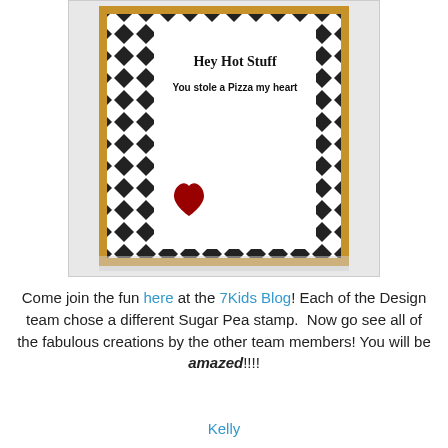[Figure (photo): A handmade greeting card with a black and white diamond pattern border framed in gold/yellow. The white card interior reads 'Hey Hot Stuff' and 'You stole a Pizza my heart' with a red heart embellishment in the lower left corner.]
Come join the fun here at the 7Kids Blog! Each of the Design team chose a different Sugar Pea stamp. Now go see all of the fabulous creations by the other team members! You will be amazed!!!!
Kelly